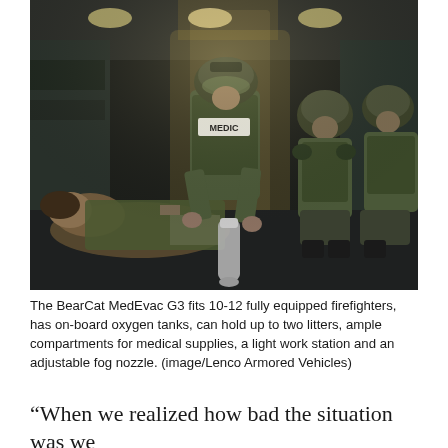[Figure (photo): Interior of a BearCat MedEvac vehicle showing a medic in tactical gear treating a patient on the floor while two other tactical personnel in helmets and body armor observe. The medic wears a vest labeled 'MEDIC'.]
The BearCat MedEvac G3 fits 10-12 fully equipped firefighters, has on-board oxygen tanks, can hold up to two litters, ample compartments for medical supplies, a light work station and an adjustable fog nozzle. (image/Lenco Armored Vehicles)
“When we realized how bad the situation was we